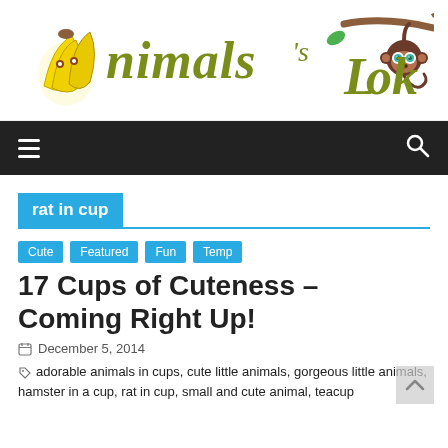[Figure (logo): Animal's Look website logo with illustrated bananas, monkey on branch, and stylized text]
Navigation bar with hamburger menu and search icon
rat in cup
Cute
Featured
Fun
Temp
17 Cups of Cuteness – Coming Right Up!
December 5, 2014
adorable animals in cups, cute little animals, gorgeous little animals, hamster in a cup, rat in cup, small and cute animal, teacup